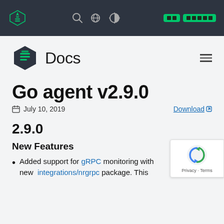New Relic navigation bar with logo, search, globe, contrast icons, and nav pills
[Figure (logo): New Relic Docs logo: dark hexagon with green document icon and 'Docs' text]
Go agent v2.9.0
July 10, 2019  Download
2.9.0
New Features
Added support for gRPC monitoring with new integrations/nrgrpc package. This